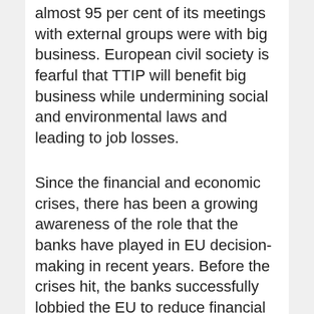almost 95 per cent of its meetings with external groups were with big business. European civil society is fearful that TTIP will benefit big business while undermining social and environmental laws and leading to job losses.
Since the financial and economic crises, there has been a growing awareness of the role that the banks have played in EU decision-making in recent years. Before the crises hit, the banks successfully lobbied the EU to reduce financial regulations making it easier for them to carry out the high-risk speculative behaviour which helped create the crisis. And while EU citizens have been forced to pick up